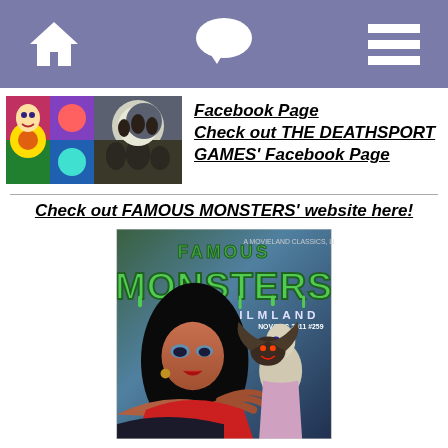Navigation bar with home, chat, and menu icons
[Figure (photo): Two small thumbnail images side by side: colorful cartoon/comic image on left, dark fantasy/horror image on right]
Facebook Page
Check out THE DEATHSPORT GAMES' Facebook Page
Check out FAMOUS MONSTERS' website here!
[Figure (photo): Famous Monsters of Filmland magazine cover, NOV/DEC 2011 #259, $9.99, featuring female vampire character with long black hair in foreground, bat creature and other figures in background, green dripping logo text]